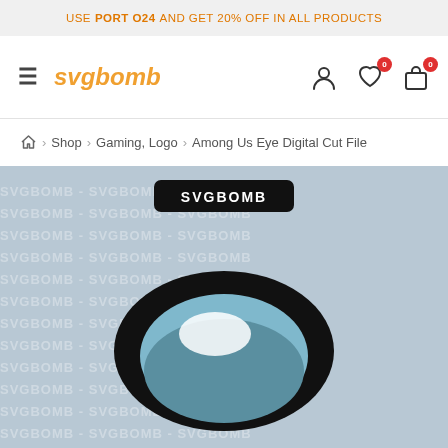USE PORT O24 AND GET 20% OFF IN ALL PRODUCTS
[Figure (logo): SVGBomb website navigation bar with hamburger menu, svgbomb logo in orange italic, user icon, heart wishlist icon with badge 0, and shopping bag icon with badge 0]
Home > Shop > Gaming, Logo > Among Us Eye Digital Cut File
[Figure (illustration): SVGBOMB watermarked product preview image showing Among Us Eye digital cut file — a black oval eye shape containing a blue iris with a white highlight, on a light blue-grey textured background with repeating SVGBOMB watermark text. A black rounded rectangle badge with SVGBOMB text appears at the top of the image.]